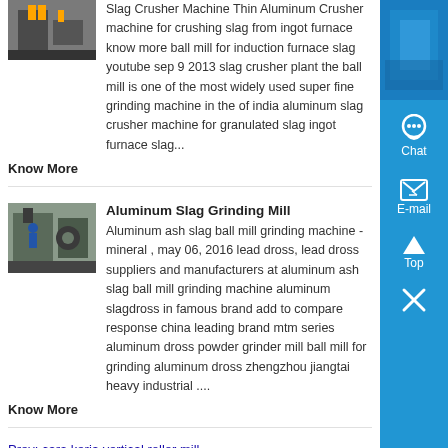[Figure (photo): Industrial machinery thumbnail image at top]
Slag Crusher Machine Thin Aluminum Crusher machine for crushing slag from ingot furnace know more ball mill for induction furnace slag youtube sep 9 2013 slag crusher plant the ball mill is one of the most widely used super fine grinding machine in the of india aluminum slag crusher machine for granulated slag ingot furnace slag...
Know More
[Figure (photo): Industrial machinery thumbnail - aluminum slag grinding mill]
Aluminum Slag Grinding Mill
Aluminum ash slag ball mill grinding machine - mineral , may 06, 2016 lead dross, lead dross suppliers and manufacturers at aluminum ash slag ball mill grinding machine aluminum slagdross in famous brand add to compare response china leading brand mtm series aluminum dross powder grinder mill ball mill for grinding aluminum dross zhengzhou jiangtai heavy industrial ....
Know More
Prev: cara kerja vertical roller mill
[Figure (other): Blue sidebar with Chat, E-mail, Top, and close icons]